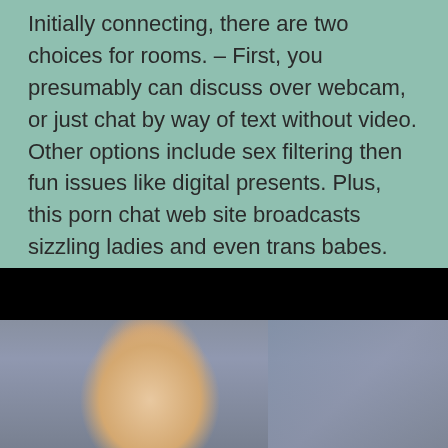Initially connecting, there are two choices for rooms. – First, you presumably can discuss over webcam, or just chat by way of text without video. Other options include sex filtering then fun issues like digital presents. Plus, this porn chat web site broadcasts sizzling ladies and even trans babes. WhoaGirls is a video sex chat site for speaking to beautiful babes on webcam.
[Figure (photo): A smiling young woman with brown hair, photographed outdoors with a blurred architectural background. A black bar appears at the top of the image area.]